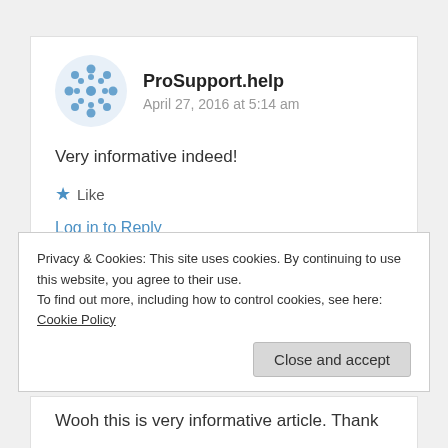[Figure (logo): Blue snowflake/geometric avatar icon for ProSupport.help]
ProSupport.help
April 27, 2016 at 5:14 am
Very informative indeed!
★ Like
Log in to Reply
Privacy & Cookies: This site uses cookies. By continuing to use this website, you agree to their use.
To find out more, including how to control cookies, see here: Cookie Policy
Close and accept
Wooh this is very informative article. Thank